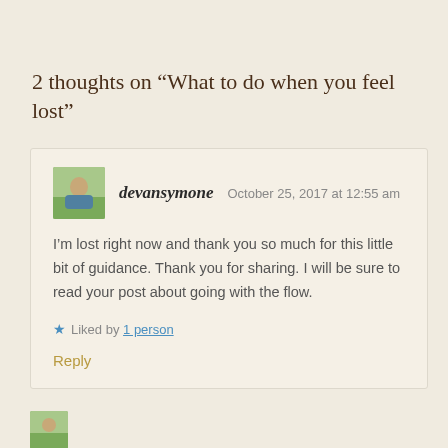2 thoughts on “What to do when you feel lost”
devansymone   October 25, 2017 at 12:55 am
I’m lost right now and thank you so much for this little bit of guidance. Thank you for sharing. I will be sure to read your post about going with the flow.
★ Liked by 1 person
Reply